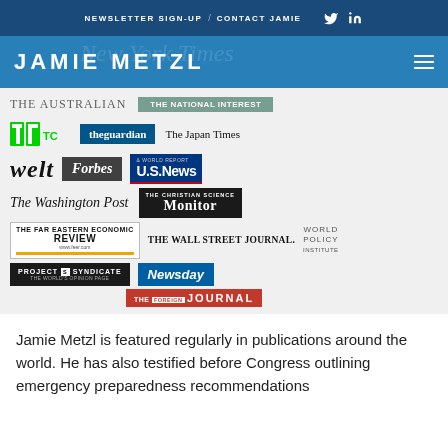NEWSLETTER SIGN-UP / CONTACT JAMIE
JAMIE METZL
[Figure (logo): Media publication logos including TechCrunch, The Guardian, The Japan Times, WELT, Forbes, U.S. News & World Report, The Washington Post, The Christian Science Monitor, The Wall Street Journal, Review, Newsday, World Policy Institute, Project Syndicate, The Foreign Journal, The Australian, The National Interest]
Jamie Metzl is featured regularly in publications around the world. He has also testified before Congress outlining emergency preparedness recommendations